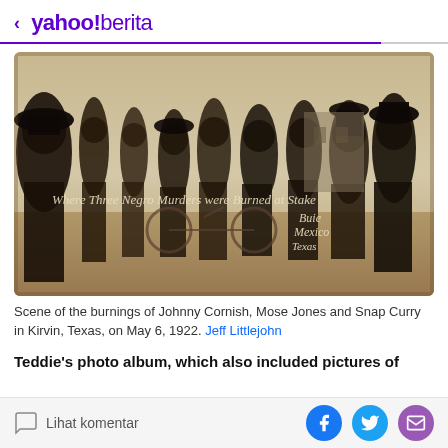< yahoo!berita
[Figure (photo): Sepia-toned historical photograph of a crowd of people gathered outdoors. Text overlay reads: 'Where Three Negro Murders were Burned at Stake Buie Mexico Texas']
Scene of the burnings of Johnny Cornish, Mose Jones and Snap Curry in Kirvin, Texas, on May 6, 1922. Jeff Littlejohn
Teddie's photo album, which also included pictures of
Lihat komentar [Facebook] [Twitter] [Email]